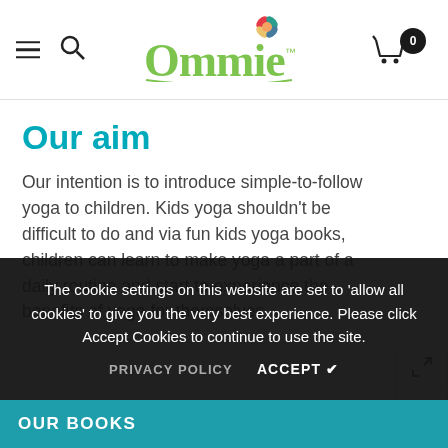Ommie - Kids yoga website header with navigation icons and cart
Our aim
Our intention is to introduce simple-to-follow yoga to children. Kids yoga shouldn't be difficult to do and via fun kids yoga books, children can learn to make yoga a part of a daily routine and start to experience the benefits of yoga for themselves.
As well as to teach new yoga postures, the aim of each story is to help kids understand happiness doesn't have to
The cookie settings on this website are set to 'allow all cookies' to give you the very best experience. Please click Accept Cookies to continue to use the site.